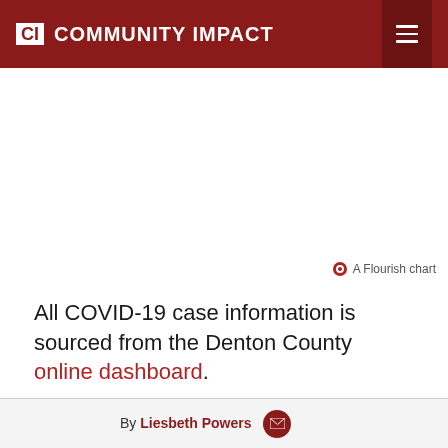CI COMMUNITY IMPACT
[Figure (other): Empty white chart area placeholder for a Flourish chart]
A Flourish chart
All COVID-19 case information is sourced from the Denton County online dashboard.
By Liesbeth Powers